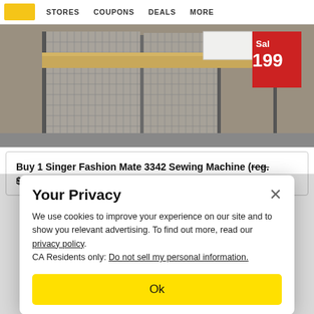STORES   COUPONS   DEALS   MORE
[Figure (photo): Interior of a store showing wire rack shelving units with a sale price tag reading '199' on a red sign, and a white appliance box on the shelf.]
Buy 1 Singer Fashion Mate 3342 Sewing Machine (reg. $179.99) $99.99. sale price
Your Privacy
We use cookies to improve your experience on our site and to show you relevant advertising. To find out more, read our privacy policy.
CA Residents only: Do not sell my personal information.
Ok